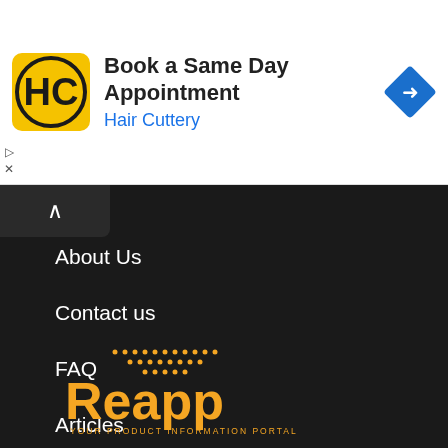[Figure (screenshot): Hair Cuttery advertisement banner with HC logo, 'Book a Same Day Appointment' text, 'Hair Cuttery' subtitle in blue, and a blue diamond navigation arrow icon on the right]
About Us
Contact us
FAQ
Articles
Sitemap
[Figure (logo): Reapp logo — orange text 'Reapp' with dot-matrix style decoration above, tagline 'YOUR PRODUCT INFORMATION PORTAL' below in orange spaced text]